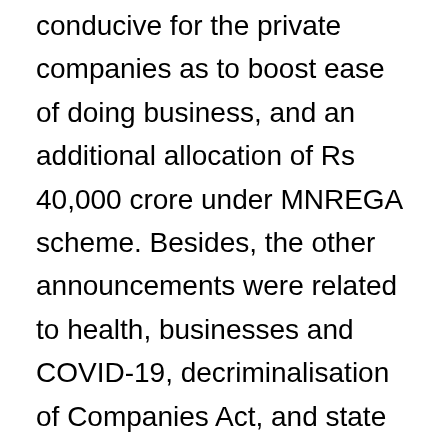conducive for the private companies as to boost ease of doing business, and an additional allocation of Rs 40,000 crore under MNREGA scheme. Besides, the other announcements were related to health, businesses and COVID-19, decriminalisation of Companies Act, and state governments. Under IBC related matters, FM Sitharaman said many businesses have been severely affected by lockdown. The debts related to COVID-19 shall be excluded from defaults under IBC. Also, the minimum threshold to initiate insolvency proceedings has been raised to Rs 1 crore from Rs 1 lakh. Moreover, no fresh insolvency proceeding will be initiated up to 1 year. Government has also decided to increase the borrowing limit of states from 3 per cent to 5 per cent for FY21, which will increase to access of Rs...